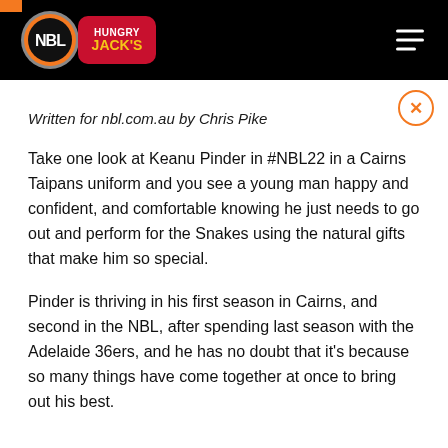NBL Hungry Jacks — navigation header
Written for nbl.com.au by Chris Pike
Take one look at Keanu Pinder in #NBL22 in a Cairns Taipans uniform and you see a young man happy and confident, and comfortable knowing he just needs to go out and perform for the Snakes using the natural gifts that make him so special.
Pinder is thriving in his first season in Cairns, and second in the NBL, after spending last season with the Adelaide 36ers, and he has no doubt that it's because so many things have come together at once to bring out his best.